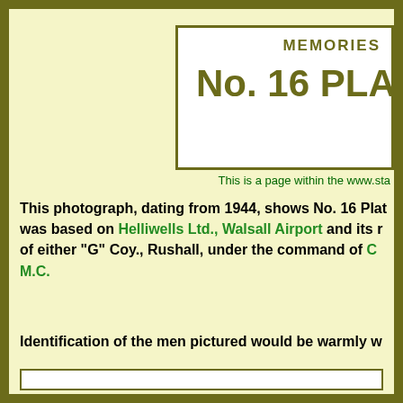MEMORIES
No. 16 PLATOON
This is a page within the www.sta...
This photograph, dating from 1944, shows No. 16 Platoon. was based on Helliwells Ltd., Walsall Airport and its members were part of either "G" Coy., Rushall, under the command of C... M.C.
Identification of the men pictured would be warmly w...
[Figure (photo): Photograph area placeholder at bottom of page]